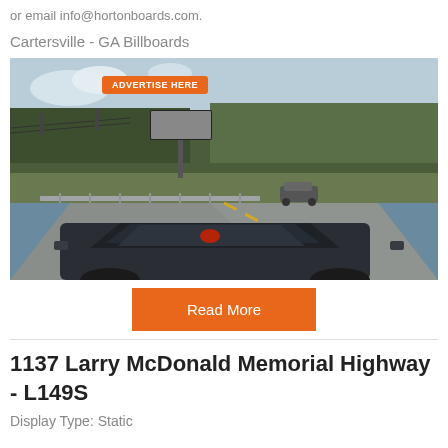or email info@hortonboards.com.
Cartersville - GA Billboards
[Figure (photo): Road scene with a billboard visible in the background showing 'ADVERTISE HERE' in orange. A dark sedan is in the foreground, another vehicle ahead on a curving highway, surrounded by bare trees.]
Read More
1137 Larry McDonald Memorial Highway - L149S
Display Type: Static